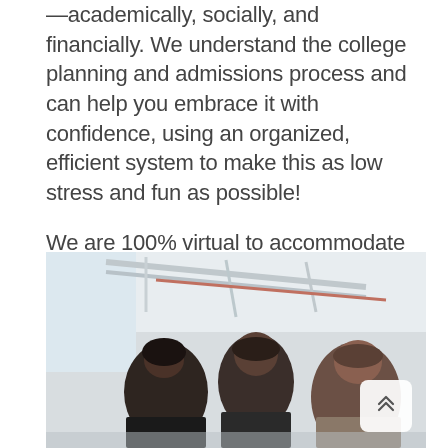—academically, socially, and financially. We understand the college planning and admissions process and can help you embrace it with confidence, using an organized, efficient system to make this as low stress and fun as possible!

We are 100% virtual to accommodate teens and families' busy schedules!
[Figure (photo): Three people (teens/young adults) leaning over and looking at something together, in a bright room with industrial ceiling and windows. A white rounded-square scroll-up button with double chevron is overlaid at the bottom right.]